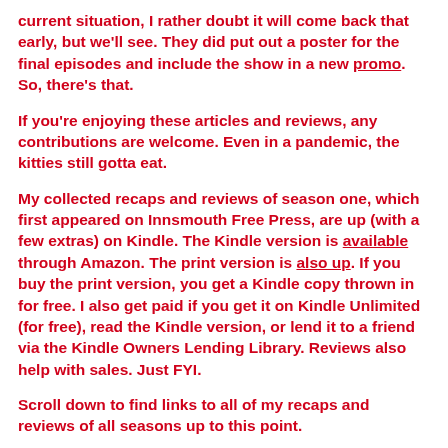current situation, I rather doubt it will come back that early, but we'll see. They did put out a poster for the final episodes and include the show in a new promo. So, there's that.
If you're enjoying these articles and reviews, any contributions are welcome. Even in a pandemic, the kitties still gotta eat.
My collected recaps and reviews of season one, which first appeared on Innsmouth Free Press, are up (with a few extras) on Kindle. The Kindle version is available through Amazon. The print version is also up. If you buy the print version, you get a Kindle copy thrown in for free. I also get paid if you get it on Kindle Unlimited (for free), read the Kindle version, or lend it to a friend via the Kindle Owners Lending Library. Reviews also help with sales. Just FYI.
Scroll down to find links to all of my recaps and reviews of all seasons up to this point.